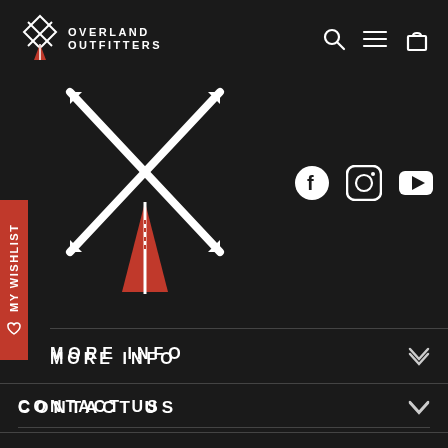[Figure (logo): Overland Outfitters logo with mountain/crosshatch icon and text]
[Figure (illustration): Navigation icons: search, hamburger menu, shopping bag]
My Wishlist
[Figure (illustration): Large Overland Outfitters logo mark (crossed arrows/road icon) shown in open navigation overlay]
[Figure (illustration): Social media icons: Facebook, Instagram, YouTube]
MORE INFO
CONTACT US
SIGN UP AND SAVE
Subscribe to get special offers, free giveaways, and once-in-a-lifetime deals.